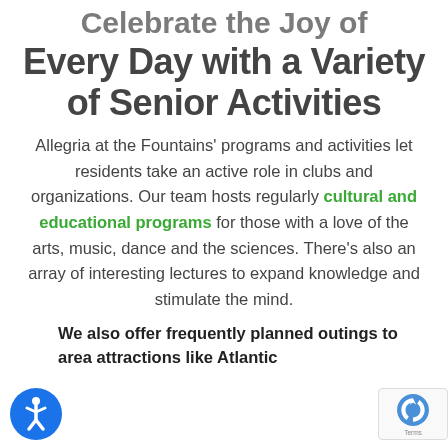Every Day with a Variety of Senior Activities
Allegria at the Fountains' programs and activities let residents take an active role in clubs and organizations. Our team hosts regularly cultural and educational programs for those with a love of the arts, music, dance and the sciences. There's also an array of interesting lectures to expand knowledge and stimulate the mind.
We also offer frequently planned outings to area attractions like Atlantic